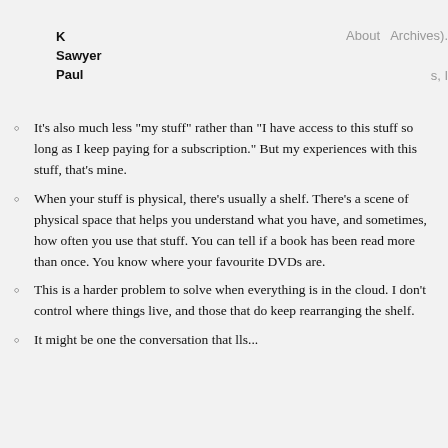K Sawyer Paul
About  Archives).
s, I
It’s also much less “my stuff” rather than “I have access to this stuff so long as I keep paying for a subscription.” But my experiences with this stuff, that’s mine.
When your stuff is physical, there’s usually a shelf. There’s a scene of physical space that helps you understand what you have, and sometimes, how often you use that stuff. You can tell if a book has been read more than once. You know where your favourite DVDs are.
This is a harder problem to solve when everything is in the cloud. I don’t control where things live, and those that do keep rearranging the shelf.
It might be one the...